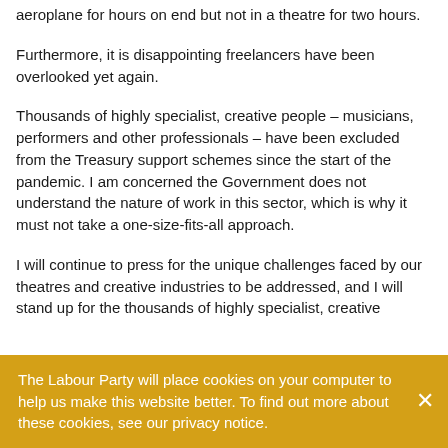aeroplane for hours on end but not in a theatre for two hours.
Furthermore, it is disappointing freelancers have been overlooked yet again.
Thousands of highly specialist, creative people – musicians, performers and other professionals – have been excluded from the Treasury support schemes since the start of the pandemic. I am concerned the Government does not understand the nature of work in this sector, which is why it must not take a one-size-fits-all approach.
I will continue to press for the unique challenges faced by our theatres and creative industries to be addressed, and I will stand up for the thousands of highly specialist, creative
The Labour Party will place cookies on your computer to help us make this website better. To find out more about these cookies, see our privacy notice.